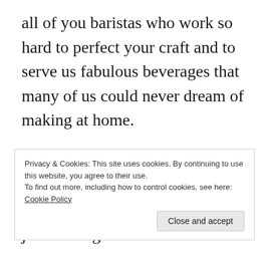all of you baristas who work so hard to perfect your craft and to serve us fabulous beverages that many of us could never dream of making at home.
Just saying!  It makes me think of when I was young, pretty impressionable, flat broke, and just starting to work for
Privacy & Cookies: This site uses cookies. By continuing to use this website, you agree to their use. To find out more, including how to control cookies, see here: Cookie Policy
Close and accept